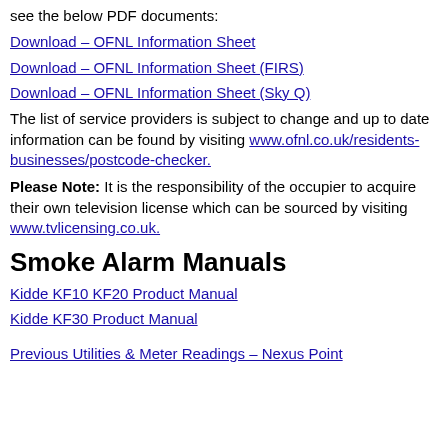see the below PDF documents:
Download – OFNL Information Sheet
Download – OFNL Information Sheet (FIRS)
Download – OFNL Information Sheet (Sky Q)
The list of service providers is subject to change and up to date information can be found by visiting www.ofnl.co.uk/residents-businesses/postcode-checker.
Please Note: It is the responsibility of the occupier to acquire their own television license which can be sourced by visiting www.tvlicensing.co.uk.
Smoke Alarm Manuals
Kidde KF10 KF20 Product Manual
Kidde KF30 Product Manual
Previous Utilities & Meter Readings – Nexus Point